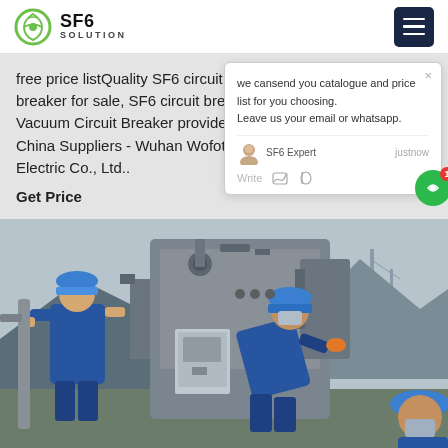SF6 SOLUTION
free price listQuality SF6 circuit breaker for sale, SF6 circuit breaker Vacuum Circuit Breaker provided by China Suppliers - Wuhan Wofoto Electric Co., Ltd..
Get Price
we cansend you catalogue and price list for you choosing.
Leave us your email or whatsapp.
SF6 Expert   justnow
Write
[Figure (photo): Two workers in blue uniforms and hard hats performing maintenance on large electrical equipment outdoors at a substation]